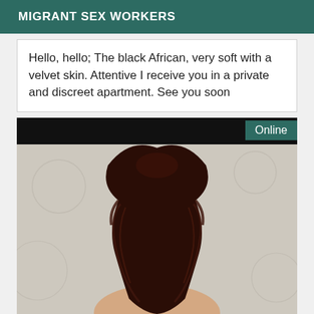MIGRANT SEX WORKERS
Hello, hello; The black African, very soft with a velvet skin. Attentive I receive you in a private and discreet apartment. See you soon
[Figure (photo): Photo of a person seen from behind with long dark brown layered hair, against a light patterned background. An 'Online' badge appears in a teal box at the top right, over a black banner.]